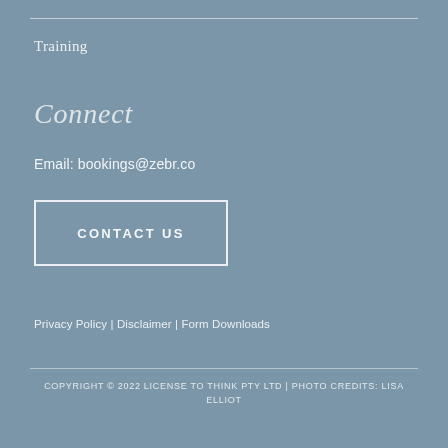Training
Connect
Email: bookings@zebr.co
CONTACT US
Privacy Policy | Disclaimer | Form Downloads
COPYRIGHT © 2022 LICENSE TO THINK PTY LTD | PHOTO CREDITS: LISA ELLIOT